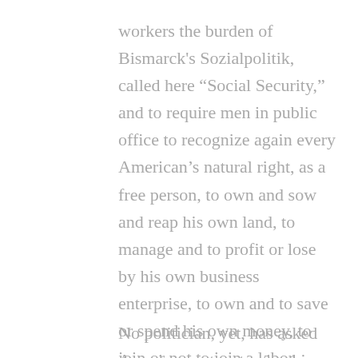workers the burden of Bismarck's Sozialpolitik, called here “Social Security,” and to require men in public office to recognize again every American’s natural right, as a free person, to own and sow and reap his own land, to manage and to profit or lose by his own business enterprise, to own and to save or spend his own money, to join or not to join a labor union, to sign or not to sign a contract, to choose his own work and to do his own bargaining for wages earned or paid, either individually or as a member of any group of other free men.
No politician, yet, has asked American voters to give him the power to strip any State of the power, with consent from